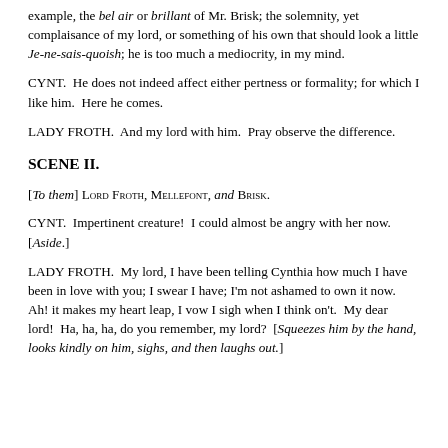example, the bel air or brillant of Mr. Brisk; the solemnity, yet complaisance of my lord, or something of his own that should look a little Je-ne-sais-quoish; he is too much a mediocrity, in my mind.
CYNT.  He does not indeed affect either pertness or formality; for which I like him.  Here he comes.
LADY FROTH.  And my lord with him.  Pray observe the difference.
SCENE II.
[To them] Lord Froth, Mellefont, and Brisk.
CYNT.  Impertinent creature!  I could almost be angry with her now.  [Aside.]
LADY FROTH.  My lord, I have been telling Cynthia how much I have been in love with you; I swear I have; I'm not ashamed to own it now.  Ah! it makes my heart leap, I vow I sigh when I think on't.  My dear lord!  Ha, ha, ha, do you remember, my lord?  [Squeezes him by the hand, looks kindly on him, sighs, and then laughs out.]